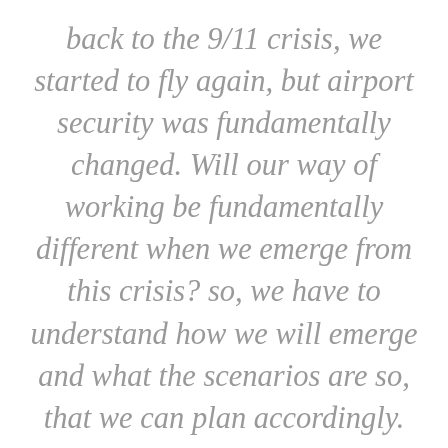back to the 9/11 crisis, we started to fly again, but airport security was fundamentally changed. Will our way of working be fundamentally different when we emerge from this crisis? so, we have to understand how we will emerge and what the scenarios are so, that we can plan accordingly. But then let's not assume that everything returns